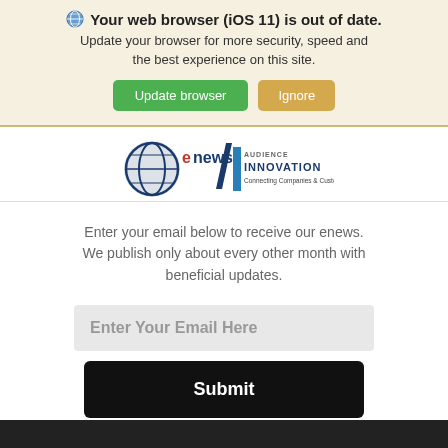Your web browser (iOS 11) is out of date. Update your browser for more security, speed and the best experience on this site.
[Figure (screenshot): Browser update banner with Update browser (green) and Ignore (tan) buttons]
[Figure (logo): eNews / Audience Innovation logo with globe and tagline: Connecting Companies & Customers]
Enter your email below to receive our enews. We publish only about every other month with beneficial updates.
[Figure (screenshot): Email input field with placeholder 'Enter Your Email Here']
[Figure (screenshot): Black Submit button]